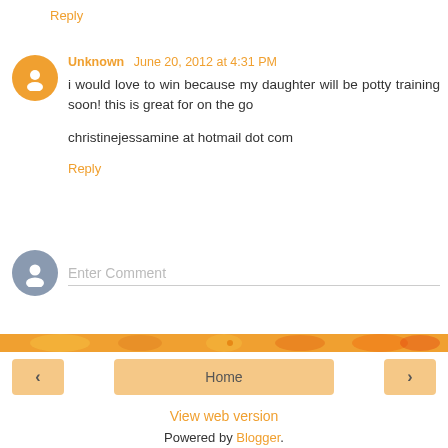Reply
Unknown June 20, 2012 at 4:31 PM
i would love to win because my daughter will be potty training soon! this is great for on the go

christinejessamine at hotmail dot com
Reply
Enter Comment
Home
View web version
Powered by Blogger.